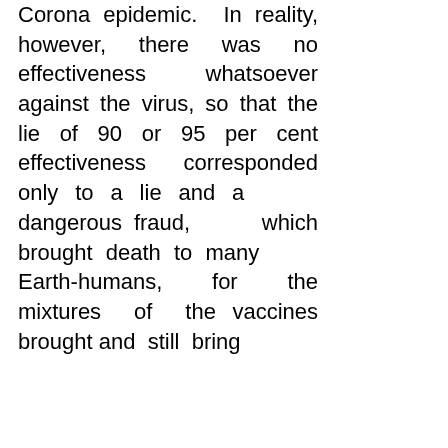Corona epidemic. In reality, however, there was no effectiveness whatsoever against the virus, so that the lie of 90 or 95 per cent effectiveness corresponded only to a lie and a dangerous fraud, which brought death to many Earth-humans, for the mixtures of the vaccines brought and still bring